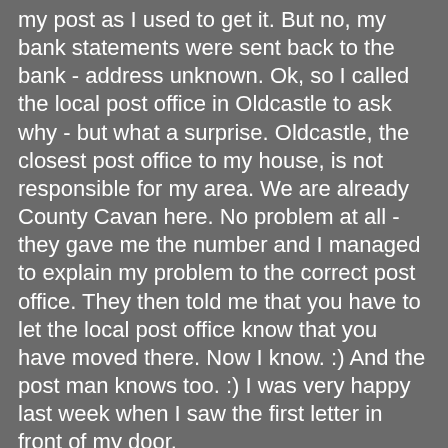my post as I used to get it. But no, my bank statements were sent back to the bank - address unknown. Ok, so I called the local post office in Oldcastle to ask why - but what a surprise. Oldcastle, the closest post office to my house, is not responsible for my area. We are already County Cavan here. No problem at all - they gave me the number and I managed to explain my problem to the correct post office. They then told me that you have to let the local post office know that you have moved there. Now I know. :) And the post man knows too. :) I was very happy last week when I saw the first letter in front of my door.
A big surprise last week was that my new Landlord said that I can have a dog too if I want. So our little family might increase at some stage. But I am not 100% sure about it yet. We will see.
Slowly I am getting used to how quiet it is here. On Saturday, in the garden, you used heard the insects, birds and cows. So peaceful. And when you look out of the window it is just green. No grey walls. The people here are so friendly. This is the real Ireland. I am glad that I did the